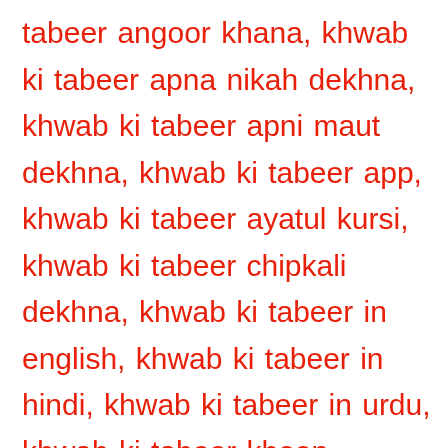tabeer angoor khana, khwab ki tabeer apna nikah dekhna, khwab ki tabeer apni maut dekhna, khwab ki tabeer app, khwab ki tabeer ayatul kursi, khwab ki tabeer chipkali dekhna, khwab ki tabeer in english, khwab ki tabeer in hindi, khwab ki tabeer in urdu, khwab ki tabeer khoon dekhna, khwab ki tabeer kutta dekhna, khwab ki tabeer murda dekhna, khwab ki tabeer naye kapde dekhna, khwab ki tabeer online, khwab ki tabeer pani dekhna